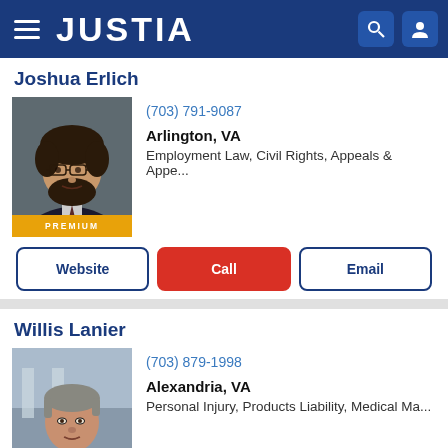JUSTIA
Joshua Erlich
(703) 791-9087
Arlington, VA
Employment Law, Civil Rights, Appeals & Appe...
Willis Lanier
(703) 879-1998
Alexandria, VA
Personal Injury, Products Liability, Medical Ma...